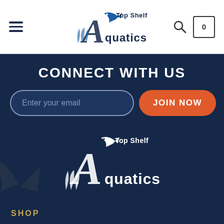[Figure (logo): Top Shelf Aquatics logo in header - dark blue fish and aquatic plant illustration with 'Top Shelf Aquatics' text]
CONNECT WITH US
Enter your email
JOIN NOW
[Figure (logo): Top Shelf Aquatics white logo on dark blue background in footer]
SHOP
COMPANY
HELP
CONTACT